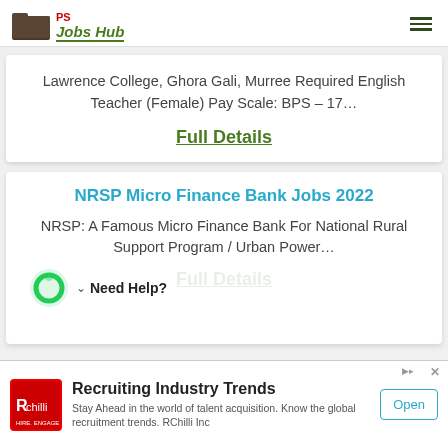PS Jobs Hub
Lawrence College, Ghora Gali, Murree Required English Teacher (Female) Pay Scale: BPS – 17…
Full Details
NRSP Micro Finance Bank Jobs 2022
NRSP: A Famous Micro Finance Bank For National Rural Support Program / Urban Power…
Full Details
Need Help?
Recruiting Industry Trends
Stay Ahead in the world of talent acquisition. Know the global recruitment trends. RChilli Inc